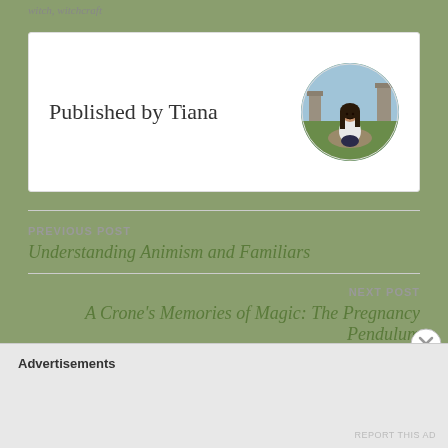witch, witchcraft
Published by Tiana
[Figure (photo): Circular profile photo of Tiana, a woman with long dark hair sitting outdoors on a path with green scenery and stone structures in the background.]
PREVIOUS POST
Understanding Animism and Familiars
NEXT POST
A Crone's Memories of Magic: The Pregnancy Pendulum
Advertisements